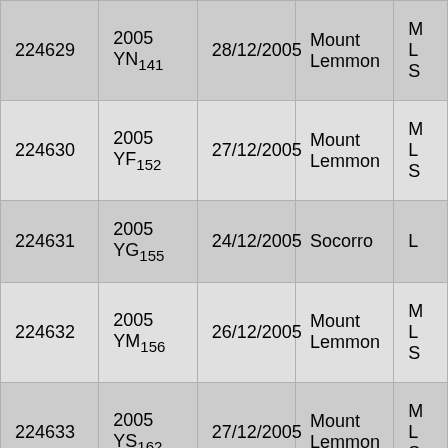| 224629 | 2005 YN141 | 28/12/2005 | Mount Lemmon | M L S |
| 224630 | 2005 YF152 | 27/12/2005 | Mount Lemmon | M L S |
| 224631 | 2005 YG155 | 24/12/2005 | Socorro | L |
| 224632 | 2005 YM156 | 26/12/2005 | Mount Lemmon | M L S |
| 224633 | 2005 YS162 | 27/12/2005 | Mount Lemmon | M L S |
|  | 2005 |  | Mount | M |